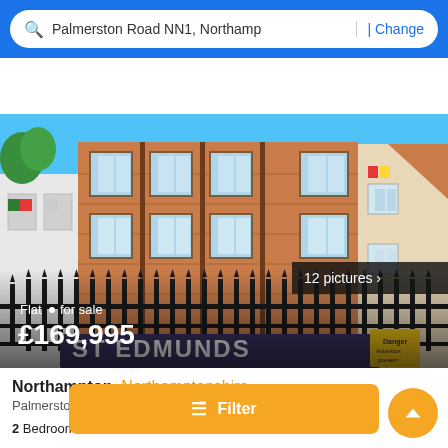Palmerston Road NN1, Northamp | Change
[Figure (photo): Exterior photo of a brick residential flat building with iron railings in front, blue sky background. Shows a 2-storey brick building with multiple sash windows. An EDMUNDS estate agent board is visible at the bottom. A '12 pictures' badge is in the lower right. Text overlaid reads: 'Flat · for sale £169,995']
Northampton, Northamptonshire
Palmerston Road N... Northa...
2 Bedrooms  2 Baths
Filter